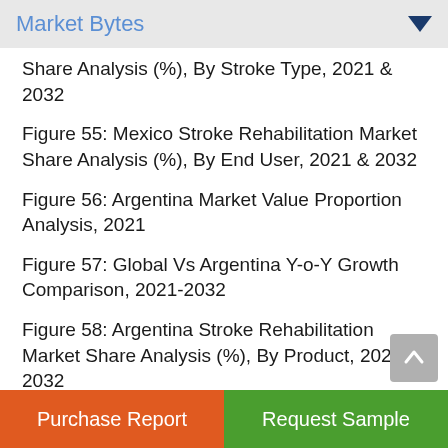Market Bytes
Share Analysis (%), By Stroke Type, 2021 & 2032
Figure 55: Mexico Stroke Rehabilitation Market Share Analysis (%), By End User, 2021 & 2032
Figure 56: Argentina Market Value Proportion Analysis, 2021
Figure 57: Global Vs Argentina Y-o-Y Growth Comparison, 2021-2032
Figure 58: Argentina Stroke Rehabilitation Market Share Analysis (%), By Product, 2021 & 2032
Purchase Report | Request Sample